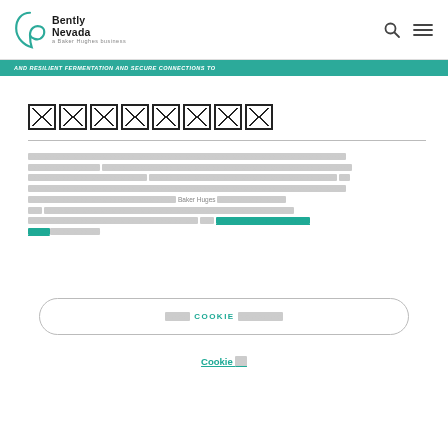Bently Nevada - a Baker Hughes business
[REDACTED]
[Redacted body text] Baker Huges [Redacted] [teal link redacted]
[COOKIE BUTTON REDACTED]
Cookie [redacted]